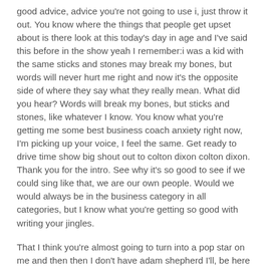good advice, advice you're not going to use i, just throw it out. You know where the things that people get upset about is there look at this today's day in age and I've said this before in the show yeah I remember:i was a kid with the same sticks and stones may break my bones, but words will never hurt me right and now it's the opposite side of where they say what they really mean. What did you hear? Words will break my bones, but sticks and stones, like whatever I know. You know what you're getting me some best business coach anxiety right now, I'm picking up your voice, I feel the same. Get ready to drive time show big shout out to colton dixon colton dixon. Thank you for the intro. See why it's so good to see if we could sing like that, we are our own people. Would we would always be in the business category in all categories, but I know what you're getting so good with writing your jingles.
That I think you're almost going to turn into a pop star on me and then then I don't have adam shepherd I'll, be here the jingle master I mean mcmasters gone. Give me a geo match. Hmm li is i some claiming email about his jingle ambition...